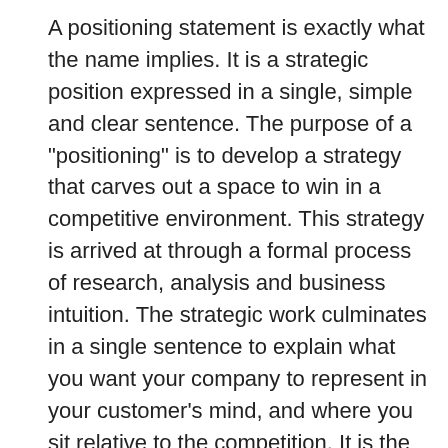A positioning statement is exactly what the name implies. It is a strategic position expressed in a single, simple and clear sentence. The purpose of a "positioning" is to develop a strategy that carves out a space to win in a competitive environment. This strategy is arrived at through a formal process of research, analysis and business intuition. The strategic work culminates in a single sentence to explain what you want your company to represent in your customer's mind, and where you sit relative to the competition. It is the heart of a brand strategy, but should also be at the center of a company's strategic